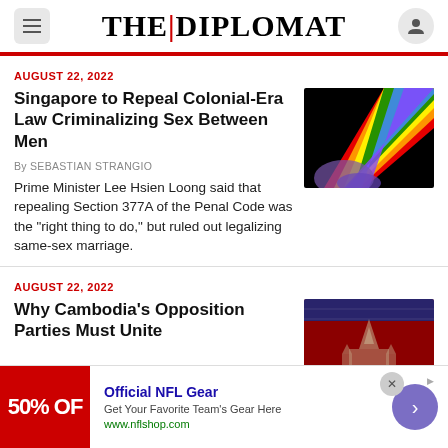THE DIPLOMAT
AUGUST 22, 2022
Singapore to Repeal Colonial-Era Law Criminalizing Sex Between Men
By SEBASTIAN STRANGIO
Prime Minister Lee Hsien Loong said that repealing Section 377A of the Penal Code was the “right thing to do,” but ruled out legalizing same-sex marriage.
[Figure (photo): Rainbow colored paint or fabric against a dark background]
AUGUST 22, 2022
Why Cambodia’s Opposition Parties Must Unite
[Figure (photo): Cambodian temple illustration on red and blue background resembling Cambodian flag]
Official NFL Gear
Get Your Favorite Team’s Gear Here
www.nflshop.com